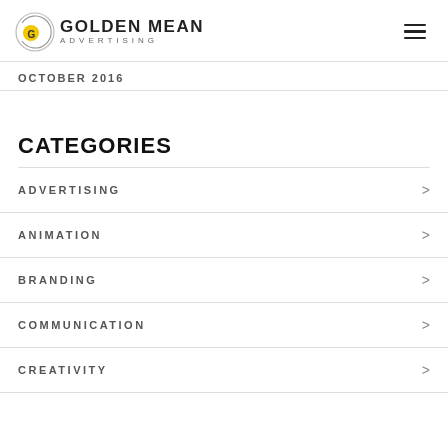[Figure (logo): Golden Mean Advertising logo with circular spiral graphic and bold text]
OCTOBER 2016
CATEGORIES
ADVERTISING
ANIMATION
BRANDING
COMMUNICATION
CREATIVITY